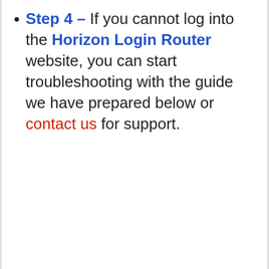Step 4 – If you cannot log into the Horizon Login Router website, you can start troubleshooting with the guide we have prepared below or contact us for support.